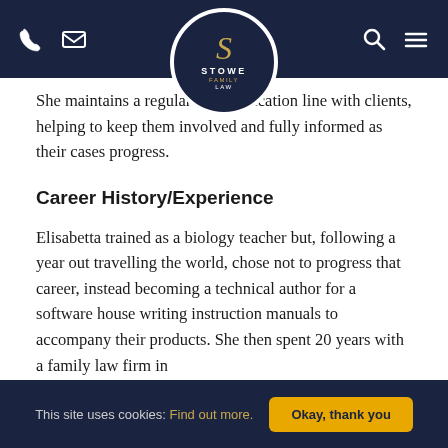Stowe Family Law — navigation bar with logo
She maintains a regular communication line with clients, helping to keep them involved and fully informed as their cases progress.
Career History/Experience
Elisabetta trained as a biology teacher but, following a year out travelling the world, chose not to progress that career, instead becoming a technical author for a software house writing instruction manuals to accompany their products. She then spent 20 years with a family law firm in
This site uses cookies: Find out more. Okay, thank you